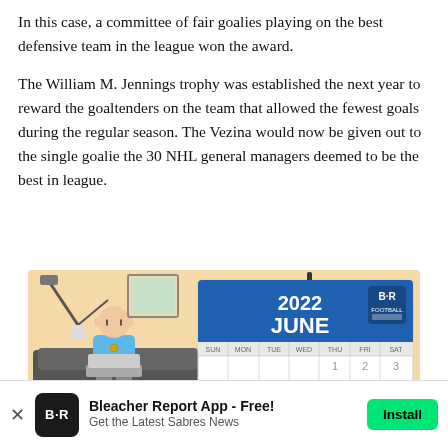In this case, a committee of fair goalies playing on the best defensive team in the league won the award.
The William M. Jennings trophy was established the next year to reward the goaltenders on the team that allowed the fewest goals during the regular season. The Vezina would now be given out to the single goalie the 30 NHL general managers deemed to be the best in league.
[Figure (illustration): Animated illustration showing a cartoon bald person sitting on a couch on the left side, and a large calendar showing June 2022 with BR Football logo on the right side. The calendar shows dates with 'First day' written and date 10 circled.]
Bleacher Report App - Free! Get the Latest Sabres News | Install